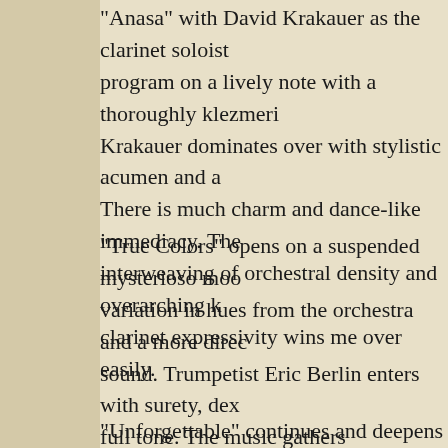"Anasa" with David Krakauer as the clarinet soloist program on a lively note with a thoroughly klezmeri Krakauer dominates over with stylistic acumen and a There is much charm and dance-like immediacy. The interweaving of orchestral density and overarching k clarinet expressivity wins me over easily.
"True Colors" opens on a suspended mysterioso moo variation in hues from the orchestra and a more direc sound. Trumpetist Eric Berlin enters with surety, dex full tone. The music gathers momentum and trumpet jazzish stance while the orchestra explores variationa imitative motive cells and harmonically full themati like reflective moodiness.
"Unforgettable" continues and deepens the mood wi